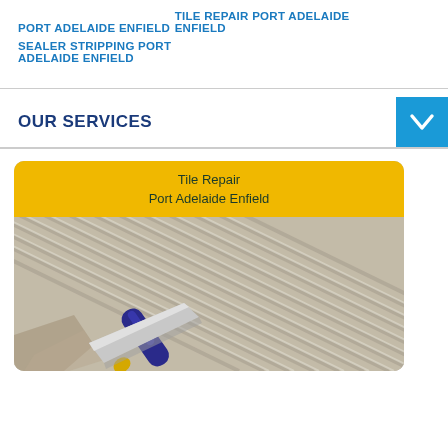PORT ADELAIDE ENFIELD
TILE REPAIR PORT ADELAIDE ENFIELD
SEALER STRIPPING PORT ADELAIDE ENFIELD
OUR SERVICES
[Figure (photo): Service card for Tile Repair Port Adelaide Enfield showing a trowel on ridged tile adhesive/cement background with a yellow header banner.]